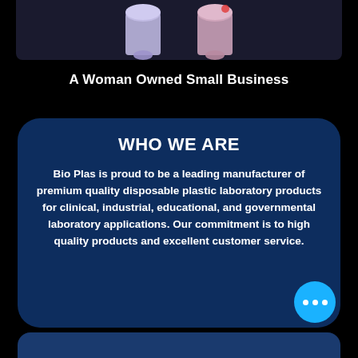[Figure (photo): Partial view of lab tubes (blue and pink/purple colored disposable plastic laboratory tubes) against a dark background, cropped at top of page.]
A Woman Owned Small Business
WHO WE ARE
Bio Plas is proud to be a leading manufacturer of premium quality disposable plastic laboratory products for clinical, industrial, educational, and governmental laboratory applications. Our commitment is to high quality products and excellent customer service.